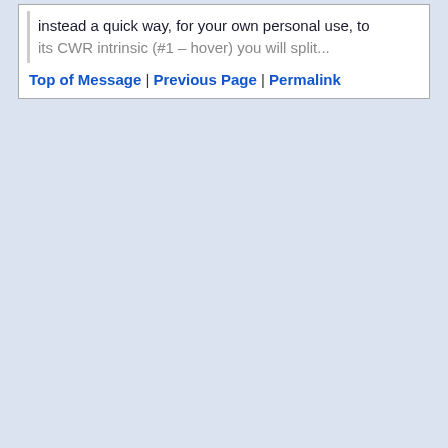instead a quick way, for your own personal use, to
its CWR intrinsic (#1 – hover) you will split...
Top of Message | Previous Page | Permalink